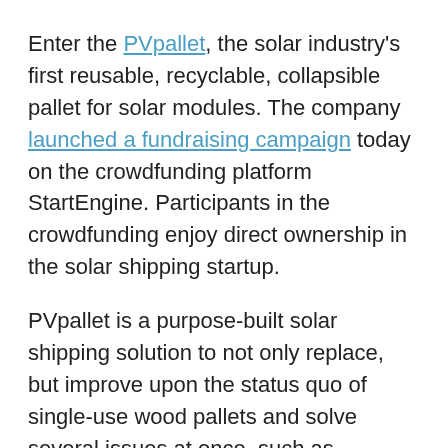Enter the PVpallet, the solar industry's first reusable, recyclable, collapsible pallet for solar modules. The company launched a fundraising campaign today on the crowdfunding platform StartEngine. Participants in the crowdfunding enjoy direct ownership in the solar shipping startup.
PVpallet is a purpose-built solar shipping solution to not only replace, but improve upon the status quo of single-use wood pallets and solve several issues at once, such as durability, partial load handling, stacking limits, ease of use and recyclability.
Made of post-consumer HDPE Type 2 plastics, PVpallets can be reused at least 20 times. They are designed to be returned at a 5:1 ratio for reuse. For every 5 truckloads of